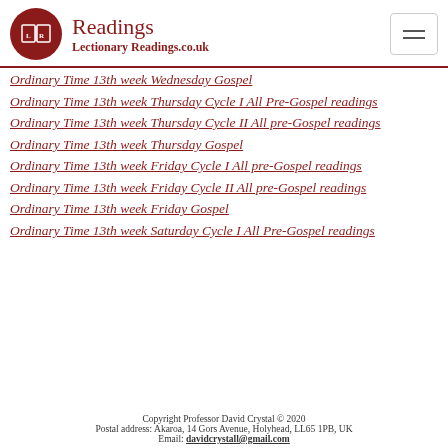Readings — LectionaryReadings.co.uk
Ordinary Time 13th week Wednesday Gospel
Ordinary Time 13th week Thursday Cycle I All Pre-Gospel readings
Ordinary Time 13th week Thursday Cycle II All pre-Gospel readings
Ordinary Time 13th week Thursday Gospel
Ordinary Time 13th week Friday Cycle I All pre-Gospel readings
Ordinary Time 13th week Friday Cycle II All pre-Gospel readings
Ordinary Time 13th week Friday Gospel
Ordinary Time 13th week Saturday Cycle I All Pre-Gospel readings
Copyright Professor David Crystal © 2020
Postal address: Akaroa, 14 Gors Avenue, Holyhead, LL65 1PB, UK
Email: davidcrystall@gmail.com